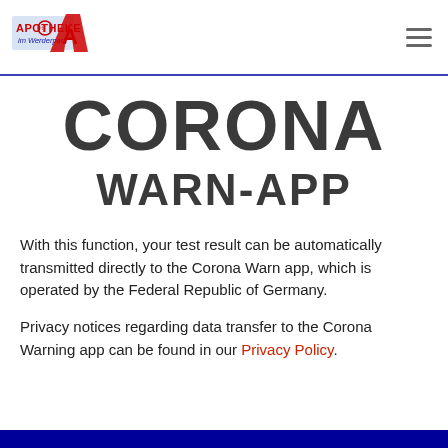[Figure (logo): Apotheke im Werderpark pharmacy logo with red letter A and text]
CORONA WARN-APP
With this function, your test result can be automatically transmitted directly to the Corona Warn app, which is operated by the Federal Republic of Germany.
Privacy notices regarding data transfer to the Corona Warning app can be found in our Privacy Policy.